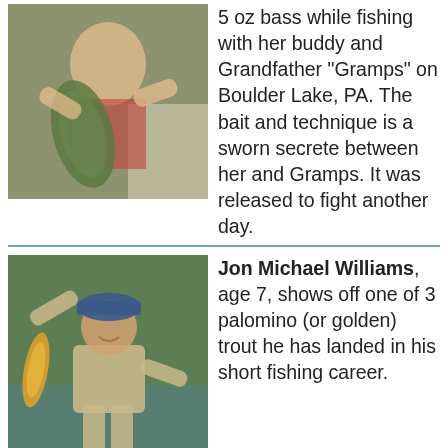[Figure (photo): Child holding a large bass fish while sitting in a boat]
5 oz bass while fishing with her buddy and Grandfather "Gramps" on Boulder Lake, PA. The bait and technique is a sworn secrete between her and Gramps. It was released to fight another day.
[Figure (photo): Young boy, Jon Michael Williams, age 7, holding up a golden/palomino trout with both arms raised, wearing a fishing vest and blue cap]
Jon Michael Williams, age 7, shows off one of 3 palomino (or golden) trout he has landed in his short fishing career.